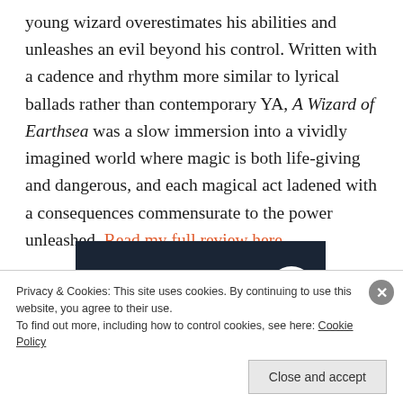young wizard overestimates his abilities and unleashes an evil beyond his control. Written with a cadence and rhythm more similar to lyrical ballads rather than contemporary YA, A Wizard of Earthsea was a slow immersion into a vividly imagined world where magic is both life-giving and dangerous, and each magical act ladened with a consequences commensurate to the power unleashed. Read my full review here.
[Figure (screenshot): Dark navy advertisement banner with a pink 'Start a survey' button on the left and a circular white Crowd Signal logo on the right.]
Privacy & Cookies: This site uses cookies. By continuing to use this website, you agree to their use. To find out more, including how to control cookies, see here: Cookie Policy
Close and accept